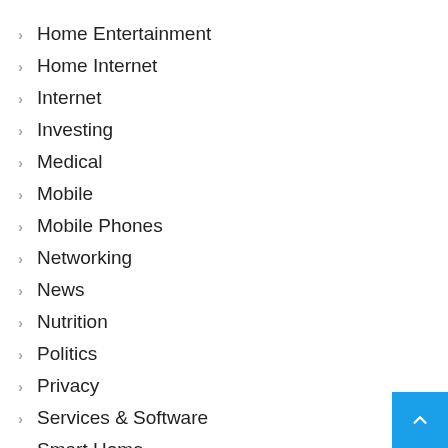Home Entertainment
Home Internet
Internet
Investing
Medical
Mobile
Mobile Phones
Networking
News
Nutrition
Politics
Privacy
Services & Software
Smart Home